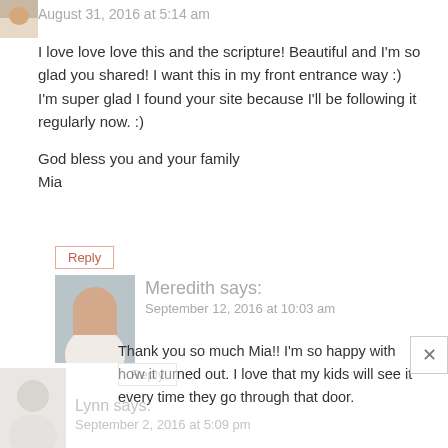August 31, 2016 at 5:14 am
I love love love this and the scripture! Beautiful and I'm so glad you shared! I want this in my front entrance way :)
I'm super glad I found your site because I'll be following it regularly now. :)

God bless you and your family
Mia
Reply
Meredith says:
September 12, 2016 at 10:03 am
Thank you so much Mia!! I'm so happy with how it turned out. I love that my kids will see it every time they go through that door.
Reply
Lynn says:
September 2, 2016 at 5:09 pm